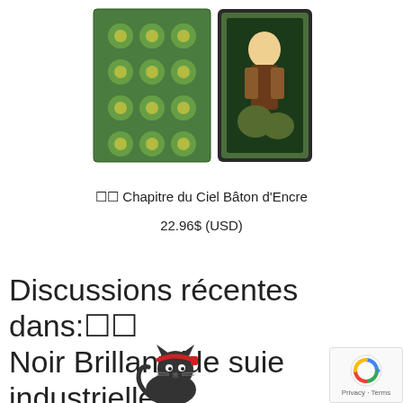[Figure (photo): Product photo showing a decorative box with green patterned fabric and an illustrated card/tarot card inside]
⬛⬛ Chapitre du Ciel Bâton d'Encre
22.96$ (USD)
Discussions récentes dans:⬛⬛ Noir Brillant (de suie industrielle)
[Figure (illustration): Small cartoon illustration of a black cat character wearing a red headband]